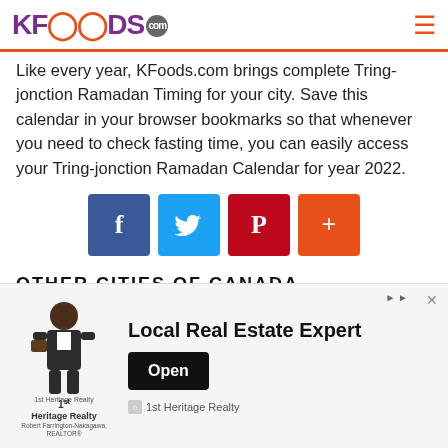KFOODS.com
Like every year, KFoods.com brings complete Tring-jonction Ramadan Timing for your city. Save this calendar in your browser bookmarks so that whenever you need to check fasting time, you can easily access your Tring-jonction Ramadan Calendar for year 2022.
[Figure (other): Social share buttons: Facebook (f), Twitter bird, Pinterest (P), and a plus (+) button]
OTHER CITIES OF CANADA
Isle Pierre Ramadan Timings
[Figure (other): Advertisement banner for 1st Heritage Realty featuring a cartoon businessman figure, logo text '1st Heritage Realty - Robert Farrington-Nakagawa, REALTOR', with headline 'Local Real Estate Expert' and an 'Open' button.]